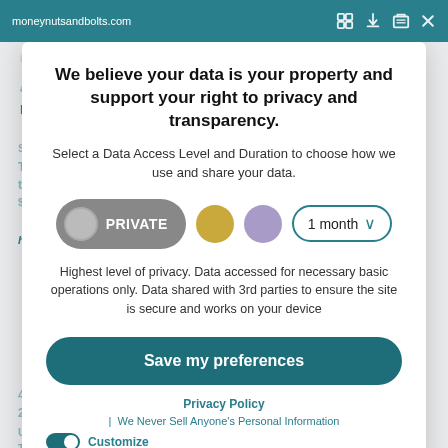moneynutsandbolts.com
We believe your data is your property and support your right to privacy and transparency.
Select a Data Access Level and Duration to choose how we use and share your data.
[Figure (infographic): Privacy level selector row with PRIVATE button (grey pill with circle), yellow dot, purple dot, and 1 month dropdown]
Highest level of privacy. Data accessed for necessary basic operations only. Data shared with 3rd parties to ensure the site is secure and works on your device
Save my preferences
Privacy Policy  |  We Never Sell Anyone's Personal Information
Customize